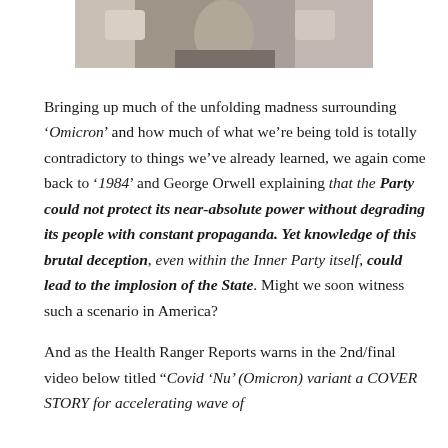[Figure (photo): Partial photo of a person with hands raised, appearing at the top of the page]
Bringing up much of the unfolding madness surrounding ‘Omicron’ and how much of what we’re being told is totally contradictory to things we’ve already learned, we again come back to ‘1984’ and George Orwell explaining that the Party could not protect its near-absolute power without degrading its people with constant propaganda. Yet knowledge of this brutal deception, even within the Inner Party itself, could lead to the implosion of the State. Might we soon witness such a scenario in America?
And as the Health Ranger Reports warns in the 2nd/final video below titled “Covid ‘Nu’ (Omicron) variant a COVER STORY for accelerating wave of